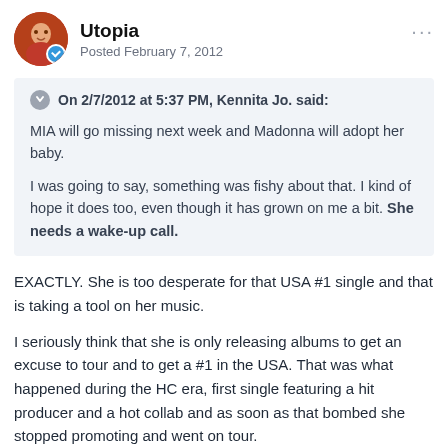Utopia — Posted February 7, 2012
On 2/7/2012 at 5:37 PM, Kennita Jo. said:

MIA will go missing next week and Madonna will adopt her baby.

I was going to say, something was fishy about that. I kind of hope it does too, even though it has grown on me a bit. She needs a wake-up call.
EXACTLY. She is too desperate for that USA #1 single and that is taking a tool on her music.

I seriously think that she is only releasing albums to get an excuse to tour and to get a #1 in the USA. That was what happened during the HC era, first single featuring a hit producer and a hot collab and as soon as that bombed she stopped promoting and went on tour.